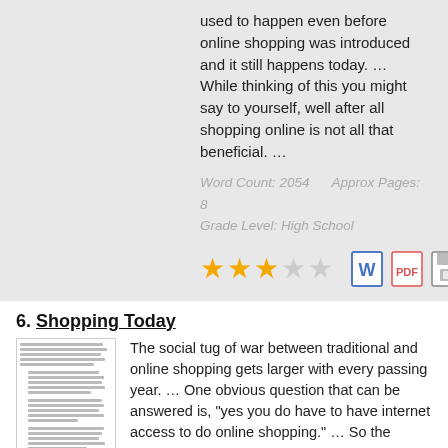used to happen even before online shopping was introduced and it still happens today. … While thinking of this you might say to yourself, well after all shopping online is not all that beneficial. …
Word Count: 2054     Approx Pages: 8
Grade Level: High School
[Figure (other): 3 filled gold stars and 2 empty stars (rating), plus Word doc icon, PDF icon, and save/disk icon]
6. Shopping Today
[Figure (other): Thumbnail image of a document page with small dense text]
The social tug of war between traditional and online shopping gets larger with every passing year. … One obvious question that can be answered is, "yes you do have to have internet access to do online shopping." … So the